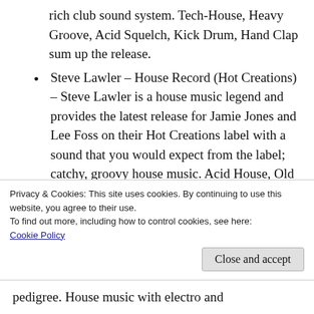rich club sound system. Tech-House, Heavy Groove, Acid Squelch, Kick Drum, Hand Clap sum up the release.
Steve Lawler – House Record (Hot Creations) – Steve Lawler is a house music legend and provides the latest release for Jamie Jones and Lee Foss on their Hot Creations label with a sound that you would expect from the label; catchy, groovy house music. Acid House, Old School, Energy, Hand Clap sum this one up.
Privacy & Cookies: This site uses cookies. By continuing to use this website, you agree to their use.
To find out more, including how to control cookies, see here: Cookie Policy
Close and accept
pedigree. House music with electro and